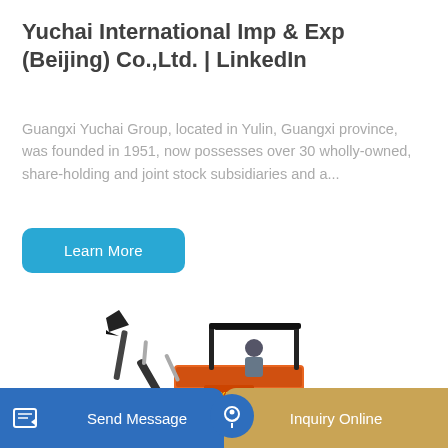Yuchai International Imp & Exp (Beijing) Co.,Ltd. | LinkedIn
Guangxi Yuchai Group, located in Yulin, Guangxi province, was founded in 1951, now possesses over 30 wholly-owned, share-holding and joint stock subsidiaries and a...
Learn More
[Figure (photo): Orange mini excavator (Doosan branded) with an operator seated, showing the bucket arm raised, on a white background]
Send Message
Inquiry Online